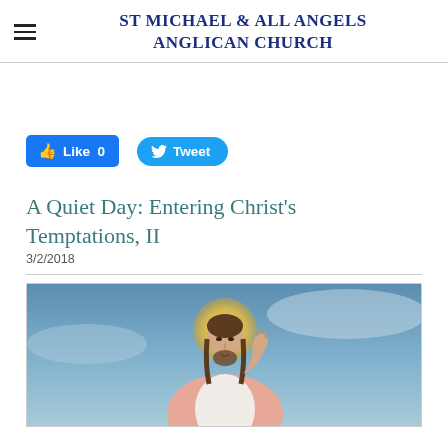ST MICHAEL & ALL ANGELS ANGLICAN CHURCH
Like 0   Tweet
A Quiet Day: Entering Christ's Temptations, II
3/2/2018
[Figure (photo): Classical painting of Jesus Christ with a halo, wearing pink and white robes, right hand raised, against a blue sky background.]